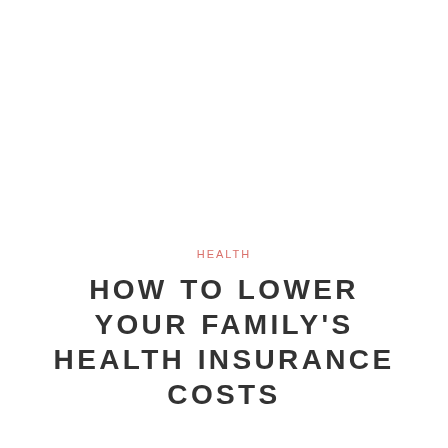HEALTH
HOW TO LOWER YOUR FAMILY'S HEALTH INSURANCE COSTS